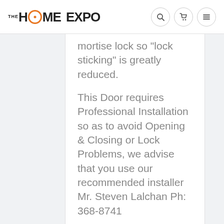THE HOME EXPO
mortise lock so "lock sticking" is greatly reduced.
This Door requires Professional Installation so as to avoid Opening & Closing or Lock Problems, we advise that you use our recommended installer Mr. Steven Lalchan Ph: 368-8741
We will not be held responsible for Problems that arise during